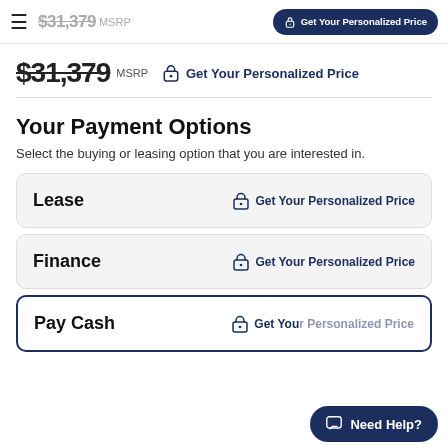$31,379 MSRP  Get Your Personalized Price
$31,379 MSRP
Get Your Personalized Price
Your Payment Options
Select the buying or leasing option that you are interested in.
Lease  Get Your Personalized Price
Finance  Get Your Personalized Price
Pay Cash  Get Your Personalized Price
Need Help?